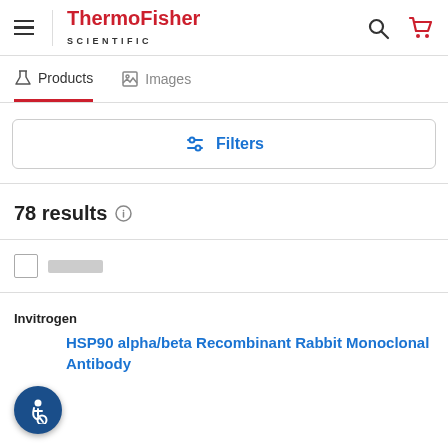ThermoFisher SCIENTIFIC
Products | Images
Filters
78 results
Invitrogen
HSP90 alpha/beta Recombinant Rabbit Monoclonal Antibody